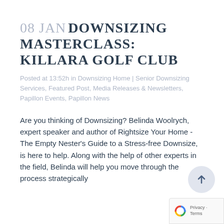08 JAN DOWNSIZING MASTERCLASS: KILLARA GOLF CLUB
Posted at 13:52h in Downsizing Home | Senior Downsizing Services, Featured Post, Media Releases & Newsletters, Papillon Events, Papillon News
Are you thinking of Downsizing? Belinda Woolrych, expert speaker and author of Rightsize Your Home - The Empty Nester's Guide to a Stress-free Downsize, is here to help. Along with the help of other experts in the field, Belinda will help you move through the process strategically